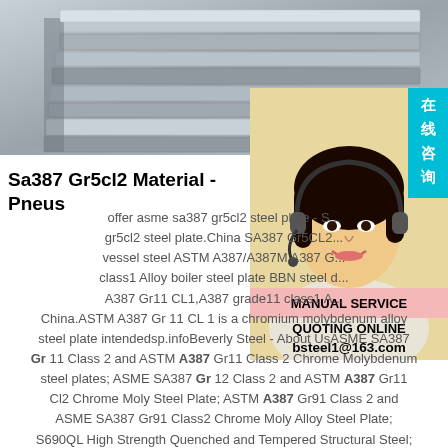[Figure (photo): Stack of steel plates viewed from the side, grey metallic color]
[Figure (photo): Customer service representative woman wearing headset, with Chinese text badge '在线咨询' (online consultation) and service info: MANUAL SERVICE, QUOTING ONLINE, bsteel1@163.com]
Sa387 Gr5cl2 Material - Pneus
offer asme sa387 gr5cl2 steel plate - S... gr5cl2 steel plate.China SA387 Gr5CL2... vessel steel ASTM A387/A387M A387 G... class1 Alloy boiler steel plate BBN steel d... A387 Gr11 CL1,A387 grade11 class1 A... China.ASTM A387 Gr 11 CL 1 is a chromium molybdenum alloy steel plate intendedsp.infoBeverly Steel - About UsASME SA387 Gr 11 Class 2 and ASTM A387 Gr11 Class 2 Chrome Molybdenum steel plates; ASME SA387 Gr 12 Class 2 and ASTM A387 Gr11 Cl2 Chrome Moly Steel Plate; ASTM A387 Gr91 Class 2 and ASME SA387 Gr91 Class2 Chrome Moly Alloy Steel Plate; S690QL High Strength Quenched and Tempered Structural Steel; S690QL1 Quenched and Tempered Structural Steel...